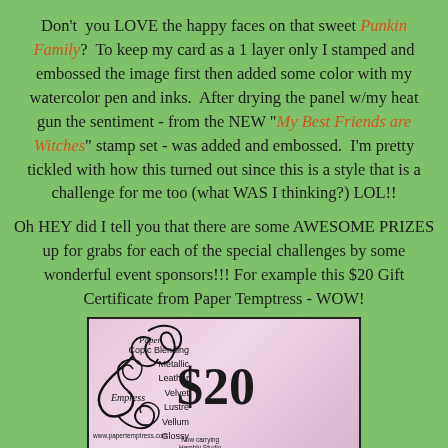Don't you LOVE the happy faces on that sweet Punkin Family? To keep my card as a 1 layer only I stamped and embossed the image first then added some color with my watercolor pen and inks. After drying the panel w/my heat gun the sentiment - from the NEW "My Best Friends are Witches" stamp set - was added and embossed. I'm pretty tickled with how this turned out since this is a style that is a challenge for me too (what WAS I thinking?) LOL!!
Oh HEY did I tell you that there are some AWESOME PRIZES up for grabs for each of the special challenges by some wonderful event sponsors!!! For example this $20 Gift Certificate from Paper Temptress - WOW!
[Figure (other): A $20 gift certificate from Paper Temptress, showing decorative swirl logo, $20 amount, website www.papertemptress.com, and product list including Copic Blending, Metallic, Leather, Velvet, Lustre, Vellum, Glossy, Now carrying Hambly Studio overlays and more.]